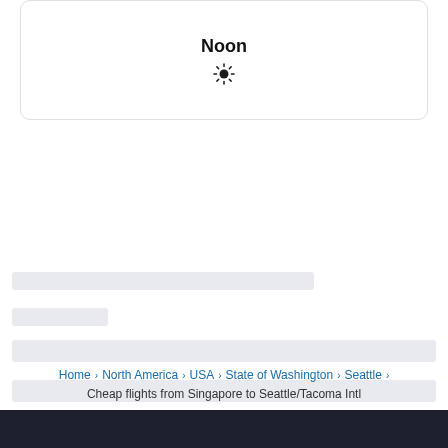[Figure (other): Card with 'Noon' label and sun icon at top of page]
[Figure (other): Loading skeleton bars in the middle of the page]
Home > North America > USA > State of Washington > Seattle > Cheap flights from Singapore to Seattle/Tacoma Intl